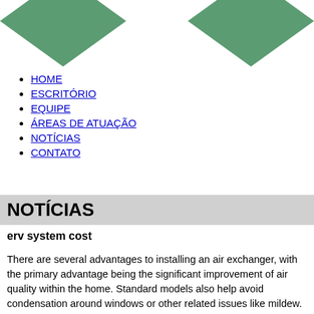[Figure (illustration): Two green diamond/rhombus shapes as decorative header graphic, one on the left and one on the right, partially cut off at the top of the page]
HOME
ESCRITÓRIO
EQUIPE
ÁREAS DE ATUAÇÃO
NOTÍCIAS
CONTATO
NOTÍCIAS
erv system cost
There are several advantages to installing an air exchanger, with the primary advantage being the significant improvement of air quality within the home. Standard models also help avoid condensation around windows or other related issues like mildew. The design should easily make this possible based on my experiments give the fan capacity and the duct length. While the